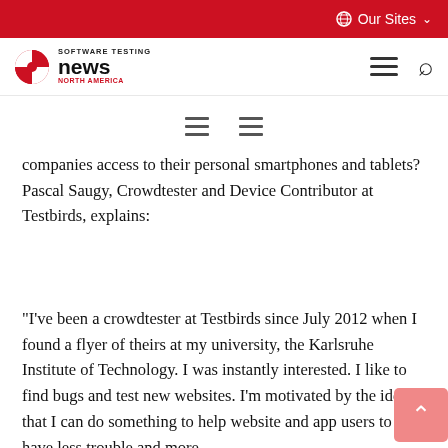Our Sites
[Figure (logo): Software Testing News North America logo with hamburger menu and search icons]
[Figure (other): Two hamburger/menu icons centered on page]
companies access to their personal smartphones and tablets? Pascal Saugy, Crowdtester and Device Contributor at Testbirds, explains:
“I’ve been a crowdtester at Testbirds since July 2012 when I found a flyer of theirs at my university, the Karlsruhe Institute of Technology. I was instantly interested. I like to find bugs and test new websites. I’m motivated by the idea that I can do something to help website and app users to have less trouble and more